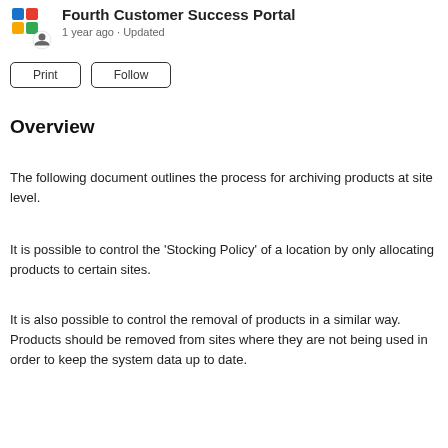Fourth Customer Success Portal
1 year ago · Updated
Overview
The following document outlines the process for archiving products at site level.
It is possible to control the ‘Stocking Policy’ of a location by only allocating products to certain sites.
It is also possible to control the removal of products in a similar way. Products should be removed from sites where they are not being used in order to keep the system data up to date.